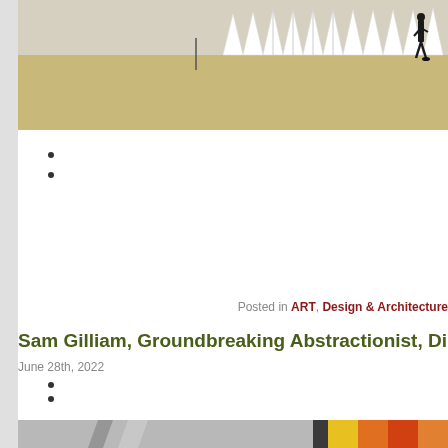[Figure (photo): Outdoor scene with white geometric tent/pavilion structures on dry grass, a person walking in the background at right]
Posted in ART, Design & Architecture
Sam Gilliam, Groundbreaking Abstractionist, Di
June 28th, 2022
[Figure (photo): Black and white photo of a person with sunglasses near a large draped fabric/canvas artwork, with a colorful yellow-orange artwork partially visible at right]